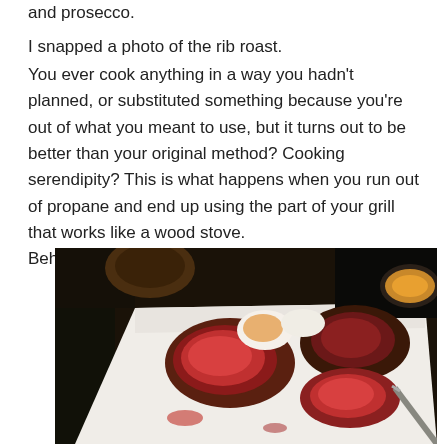and prosecco.
I snapped a photo of the rib roast.
You ever cook anything in a way you hadn't planned, or substituted something because you're out of what you meant to use, but it turns out to be better than your original method? Cooking serendipity? This is what happens when you run out of propane and end up using the part of your grill that works like a wood stove.
Behold, rib roast ala HME:
[Figure (photo): A white cutting board with sliced rib roast pieces showing pink/red medium-rare interior, with a knife visible, and a sauce dish partially visible in the upper right corner. Dark background.]